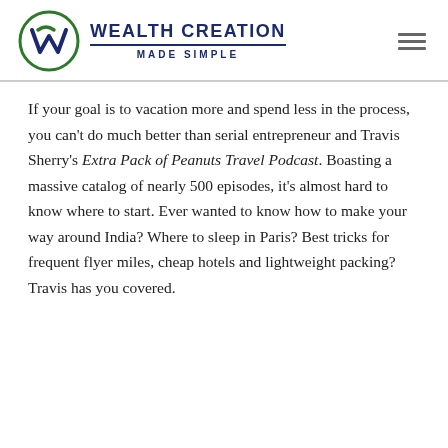[Figure (logo): Wealth Creation Made Simple logo with circular W emblem in green and dark blue, with text WEALTH CREATION MADE SIMPLE]
If your goal is to vacation more and spend less in the process, you can't do much better than serial entrepreneur and Travis Sherry's Extra Pack of Peanuts Travel Podcast. Boasting a massive catalog of nearly 500 episodes, it's almost hard to know where to start. Ever wanted to know how to make your way around India? Where to sleep in Paris? Best tricks for frequent flyer miles, cheap hotels and lightweight packing? Travis has you covered.